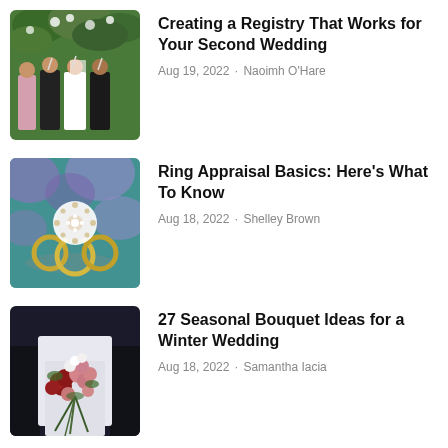[Figure (photo): Wedding party outdoors with flowers, people toasting with champagne]
Creating a Registry That Works for Your Second Wedding
Aug 19, 2022 · Naoimh O'Hare
[Figure (photo): Close-up of decorative brooch ring with blurred rings and purple flowers in background]
Ring Appraisal Basics: Here's What To Know
Aug 18, 2022 · Shelley Brown
[Figure (photo): Bride holding large winter bouquet of red, pink and white flowers]
27 Seasonal Bouquet Ideas for a Winter Wedding
Aug 18, 2022 · Samantha Iacia
How to Choose the Right Interfaith Officiant for Your …